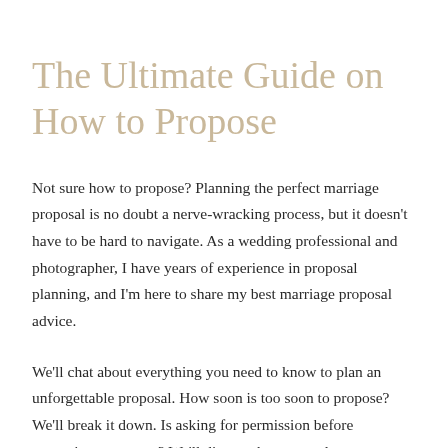The Ultimate Guide on How to Propose
Not sure how to propose? Planning the perfect marriage proposal is no doubt a nerve-wracking process, but it doesn't have to be hard to navigate. As a wedding professional and photographer, I have years of experience in proposal planning, and I'm here to share my best marriage proposal advice.
We'll chat about everything you need to know to plan an unforgettable proposal. How soon is too soon to propose? We'll break it down. Is asking for permission before proposing necessary? We'll discuss the pros and